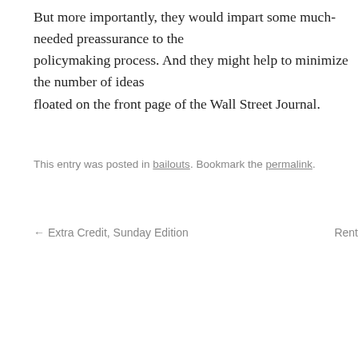But more importantly, they would impart some much-needed p[reassurance] to the policymaking process. And they might help to minimize the nu[mber of ideas] floated on the front page of the Wall Street Journal.
This entry was posted in bailouts. Bookmark the permalink.
← Extra Credit, Sunday Edition
Rent